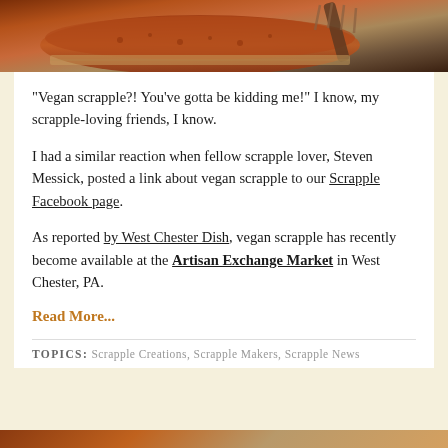[Figure (photo): Close-up photo of scrapple (reddish-brown textured meat patty) on a cutting board with a fork, warm tones]
"Vegan scrapple?! You've gotta be kidding me!" I know, my scrapple-loving friends, I know.
I had a similar reaction when fellow scrapple lover, Steven Messick, posted a link about vegan scrapple to our Scrapple Facebook page.
As reported by West Chester Dish, vegan scrapple has recently become available at the Artisan Exchange Market in West Chester, PA.
Read More...
TOPICS: Scrapple Creations, Scrapple Makers, Scrapple News